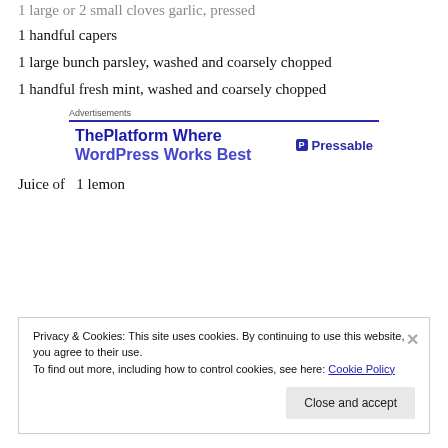1 large or 2 small cloves garlic, pressed
1 handful capers
1 large bunch parsley, washed and coarsely chopped
1 handful fresh mint, washed and coarsely chopped
[Figure (screenshot): Advertisements banner showing 'ThePlatform Where WordPress Works Best' with Pressable logo]
Juice of  1 lemon
Privacy & Cookies: This site uses cookies. By continuing to use this website, you agree to their use.
To find out more, including how to control cookies, see here: Cookie Policy